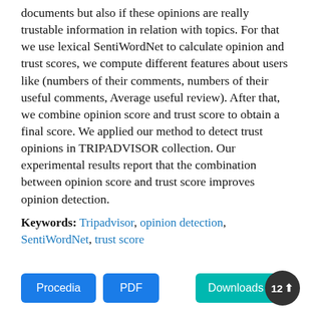documents but also if these opinions are really trustable information in relation with topics. For that we use lexical SentiWordNet to calculate opinion and trust scores, we compute different features about users like (numbers of their comments, numbers of their useful comments, Average useful review). After that, we combine opinion score and trust score to obtain a final score. We applied our method to detect trust opinions in TRIPADVISOR collection. Our experimental results report that the combination between opinion score and trust score improves opinion detection.
Keywords: Tripadvisor, opinion detection, SentiWordNet, trust score